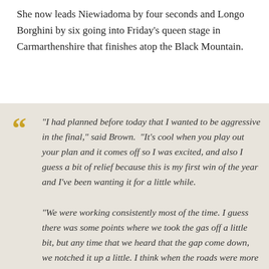She now leads Niewiadoma by four seconds and Longo Borghini by six going into Friday's queen stage in Carmarthenshire that finishes atop the Black Mountain.
"I had planned before today that I wanted to be aggressive in the final," said Brown. "It's cool when you play out your plan and it comes off so I was excited, and also I guess a bit of relief because this is my first win of the year and I've been wanting it for a little while.

"We were working consistently most of the time. I guess there was some points where we took the gas off a little bit, but any time that we heard that the gap come down, we notched it up a little. I think when the roads were more climby we got a bit more time, obviously around the lake, where it was flat, the time started coming down quite a bit.